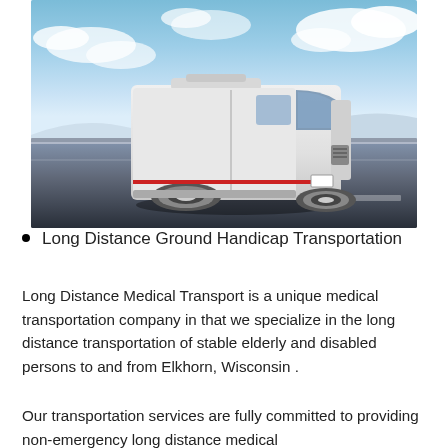[Figure (photo): A white cargo/transport van driving on a highway road under a bright cloudy blue sky, photographed from a low front-angle perspective.]
Long Distance Ground Handicap Transportation
Long Distance Medical Transport is a unique medical transportation company in that we specialize in the long distance transportation of stable elderly and disabled persons to and from Elkhorn, Wisconsin .
Our transportation services are fully committed to providing non-emergency long distance medical